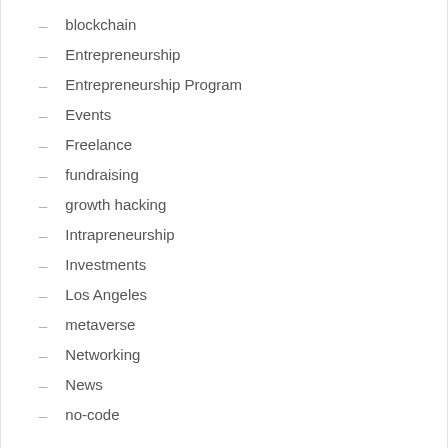blockchain
Entrepreneurship
Entrepreneurship Program
Events
Freelance
fundraising
growth hacking
Intrapreneurship
Investments
Los Angeles
metaverse
Networking
News
no-code